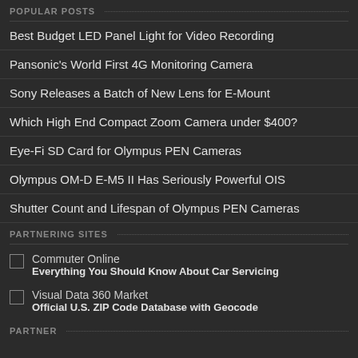POPULAR POSTS
Best Budget LED Panel Light for Video Recording
Pansonic's World First 4G Monitoring Camera
Sony Releases a Batch of New Lens for E-Mount
Which High End Compact Zoom Camera under $400?
Eye-Fi SD Card for Olympus PEN Cameras
Olympus OM-D E-M5 II Has Seriously Powerful OIS
Shutter Count and Lifespan of Olympus PEN Cameras
PARTNERING SITES
Commuter Online — Everything You Should Know About Car Servicing
Visual Data 360 Market — Official U.S. ZIP Code Database with Geocode
PARTNER